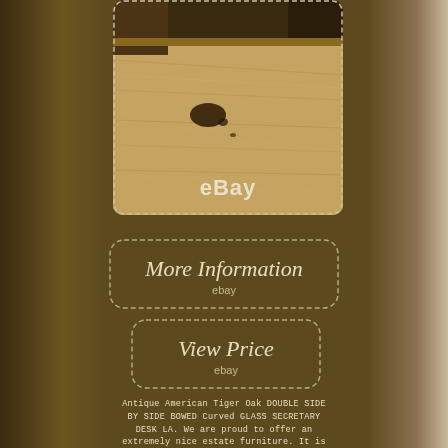[Figure (photo): Close-up photo of antique tiger oak wood surface showing grain and a dark blemish/mark, with 'eBay' watermark overlay. Image has a dotted border outline.]
[Figure (infographic): Button graphic with dashed border reading 'More Information' in italic serif font with 'ebay' label below]
[Figure (infographic): Button graphic with dashed border reading 'View Price' in italic serif font with 'ebay' label below]
Antique American Tiger Oak DOUBLE SIDE BY SIDE BOWED Curved GLASS SECRETARY DESK LA. We are proud to offer an extremely nice estate furniture. It is